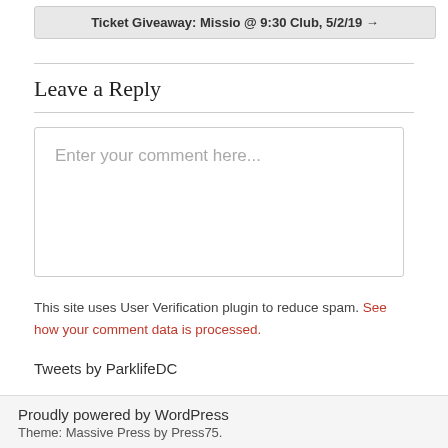Ticket Giveaway: Missio @ 9:30 Club, 5/2/19 →
Leave a Reply
Enter your comment here...
This site uses User Verification plugin to reduce spam. See how your comment data is processed.
Tweets by ParklifeDC
Proudly powered by WordPress
Theme: Massive Press by Press75.